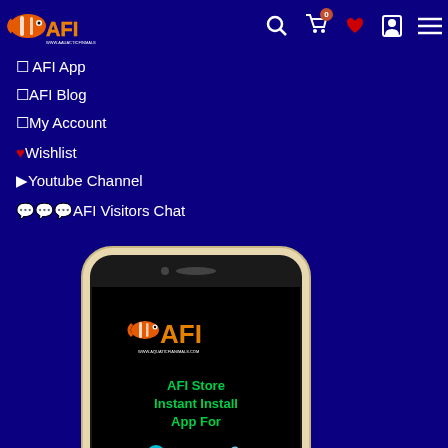[Figure (screenshot): AFI website navigation bar with logo (clownfish and AFI text), search icon, cart with 0 badge, red heart, profile, and hamburger menu icons on dark blue background]
☐ AFI App
☐AFI Blog
☐My Account
♥Wishlist
▶Youtube Channel
💬💬💬AFI Visitors Chat
[Figure (screenshot): Smartphone mockup showing AFI Store app with logo, text 'AFI Store Instant Install App For' and Android/Apple icons on black screen]